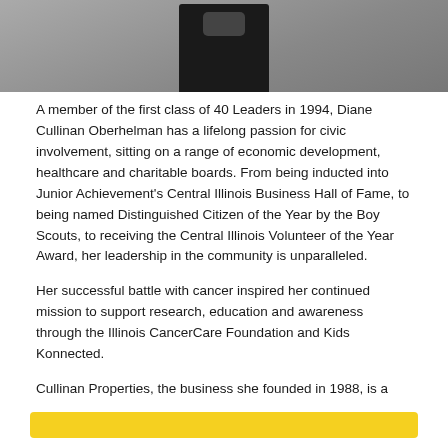[Figure (photo): Partial photo of a person in black clothing holding an object, cropped at the top of the page]
A member of the first class of 40 Leaders in 1994, Diane Cullinan Oberhelman has a lifelong passion for civic involvement, sitting on a range of economic development, healthcare and charitable boards. From being inducted into Junior Achievement's Central Illinois Business Hall of Fame, to being named Distinguished Citizen of the Year by the Boy Scouts, to receiving the Central Illinois Volunteer of the Year Award, her leadership in the community is unparalleled.
Her successful battle with cancer inspired her continued mission to support research, education and awareness through the Illinois CancerCare Foundation and Kids Konnected.
Cullinan Properties, the business she founded in 1988, is a